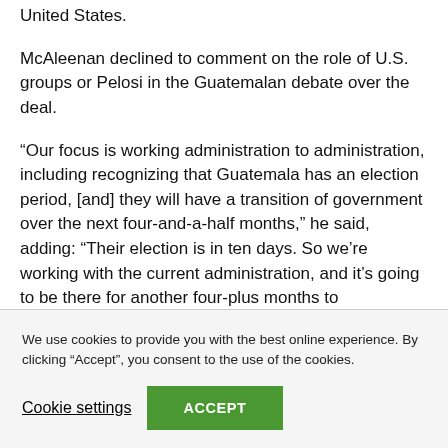United States.
McAleenan declined to comment on the role of U.S. groups or Pelosi in the Guatemalan debate over the deal.
“Our focus is working administration to administration, including recognizing that Guatemala has an election period, [and] they will have a transition of government over the next four-and-a-half months,” he said, adding: “Their election is in ten days. So we’re working with the current administration, and it’s going to be there for another four-plus months to
We use cookies to provide you with the best online experience. By clicking “Accept”, you consent to the use of the cookies.
Cookie settings
ACCEPT